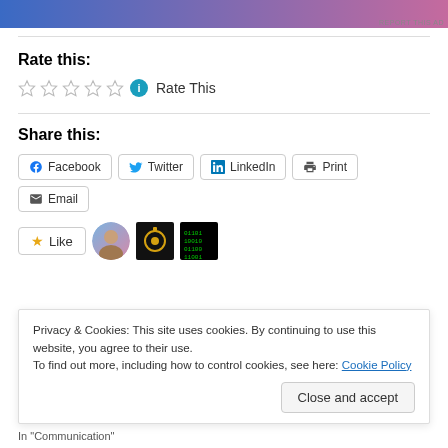[Figure (other): Ad banner at top, gradient blue to pink, with 'REPORT THIS AD' text]
Rate this:
[Figure (other): Five empty star rating icons followed by an info icon and 'Rate This' text]
Share this:
[Figure (other): Social sharing buttons: Facebook, Twitter, LinkedIn, Print, Email]
[Figure (other): Like button and three user avatar thumbnails]
Privacy & Cookies: This site uses cookies. By continuing to use this website, you agree to their use.
To find out more, including how to control cookies, see here: Cookie Policy
Close and accept
In "Communication"